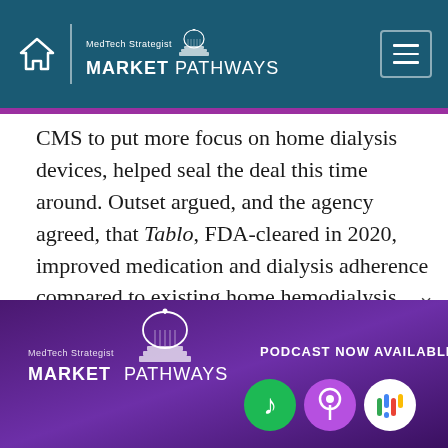MedTech Strategist MARKET PATHWAYS
CMS to put more focus on home dialysis devices, helped seal the deal this time around. Outset argued, and the agency agreed, that Tablo, FDA-cleared in 2020, improved medication and dialysis adherence compared to existing home hemodialysis offerings…
[Figure (infographic): MedTech Strategist Market Pathways podcast advertisement banner with Spotify, Apple Podcasts, and Google Podcasts icons. Text: PODCAST NOW AVAILABLE]